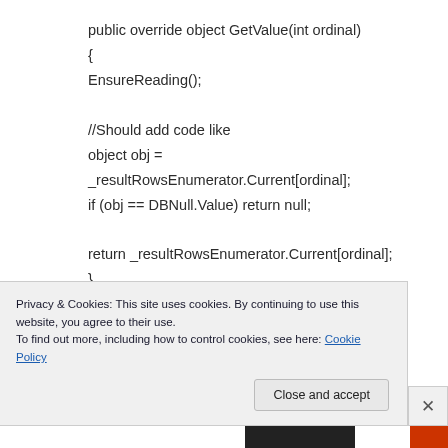public override object GetValue(int ordinal)
{
EnsureReading();

//Should add code like
object obj =
_resultRowsEnumerator.Current[ordinal];
if (obj == DBNull.Value) return null;

return _resultRowsEnumerator.Current[ordinal];
}
Privacy & Cookies: This site uses cookies. By continuing to use this website, you agree to their use.
To find out more, including how to control cookies, see here: Cookie Policy
Close and accept